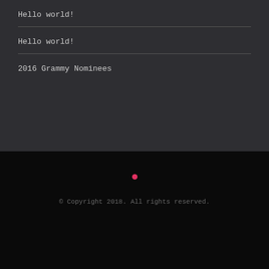Hello world!
Hello world!
2016 Grammy Nominees
[Figure (other): Small pink dot used as a pagination indicator]
© Copyright 2018. All rights reserved.